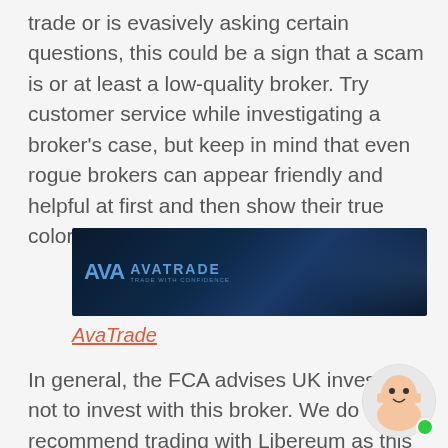trade or is evasively asking certain questions, this could be a sign that a scam is or at least a low-quality broker. Try customer service while investigating a broker's case, but keep in mind that even rogue brokers can appear friendly and helpful at first and then show their true colors.
[Figure (logo): AvaTrade broker advertisement banner with dark navy blue background and AvaTrade logo]
AvaTrade
In general, the FCA advises UK investors not to invest with this broker. We do not recommend trading with Libereum as this broker was suspected of being a scam. If you have already signed a contract or money to this scam broker, please contact btc-